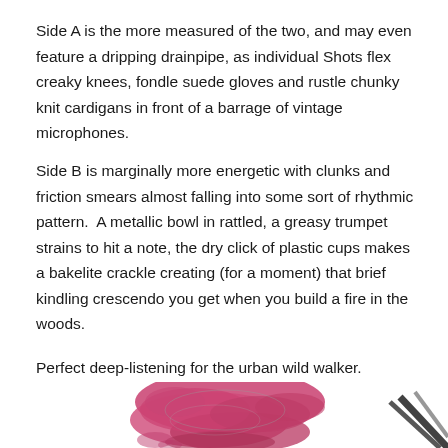Side A is the more measured of the two, and may even feature a dripping drainpipe, as individual Shots flex creaky knees, fondle suede gloves and rustle chunky knit cardigans in front of a barrage of vintage microphones.
Side B is marginally more energetic with clunks and friction smears almost falling into some sort of rhythmic pattern.  A metallic bowl in rattled, a greasy trumpet strains to hit a note, the dry click of plastic cups makes a bakelite crackle creating (for a moment) that brief kindling crescendo you get when you build a fire in the woods.
Perfect deep-listening for the urban wild walker.
[Figure (photo): Partial view of a pink/magenta coral or lichen-like organic object, with some dark diagonal lines (possibly a microphone or instrument) visible in the bottom right corner.]